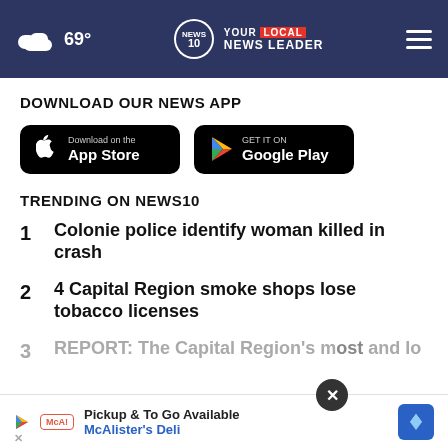69° NEWS10 YOUR LOCAL NEWS LEADER
DOWNLOAD OUR NEWS APP
[Figure (screenshot): App Store download button (black rounded rectangle with Apple logo, text: Download on the App Store)]
[Figure (screenshot): Google Play download button (black rounded rectangle with Play logo, text: GET IT ON Google Play)]
TRENDING ON NEWS10
1 Colonie police identify woman killed in crash
2 4 Capital Region smoke shops lose tobacco licenses
3 REPORT: The Capital Region's most and lo...
[Figure (screenshot): Advertisement banner: Pickup & To Go Available, McAlister's Deli, with map icon and close button]